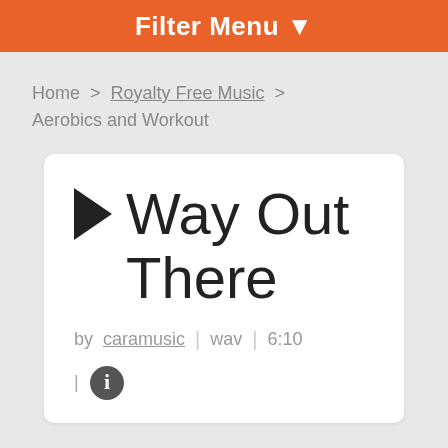Filter Menu ▼
Home > Royalty Free Music > Aerobics and Workout
▶ Way Out There
by caramusic | wav | 6:10
| ℹ